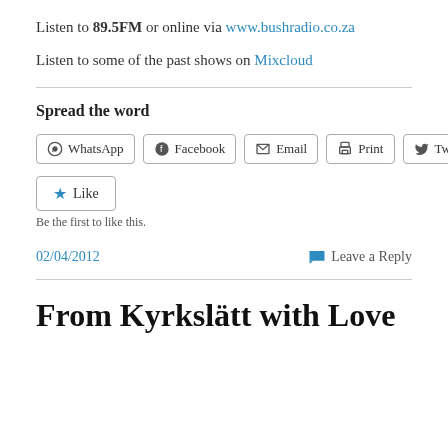Listen to 89.5FM or online via www.bushradio.co.za
Listen to some of the past shows on Mixcloud
Spread the word
[Figure (other): Social share buttons: WhatsApp, Facebook, Email, Print, Twitter]
[Figure (other): Like button widget with star icon and 'Be the first to like this.' text below]
02/04/2012
Leave a Reply
From Kyrkslätt with Love